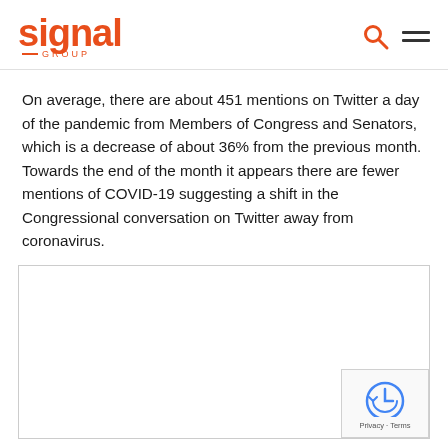signal GROUP
On average, there are about 451 mentions on Twitter a day of the pandemic from Members of Congress and Senators, which is a decrease of about 36% from the previous month. Towards the end of the month it appears there are fewer mentions of COVID-19 suggesting a shift in the Congressional conversation on Twitter away from coronavirus.
[Figure (other): Empty chart placeholder box with reCAPTCHA badge in bottom-right corner showing reCAPTCHA logo and Privacy · Terms links]